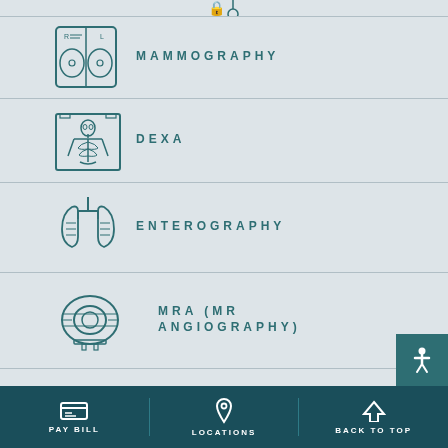[Figure (infographic): Partial icon at top (cut off) — medical imaging service icon]
MAMMOGRAPHY
DEXA
ENTEROGRAPHY
MRA (MR ANGIOGRAPHY)
CTA (CT
PAY BILL   LOCATIONS   BACK TO TOP